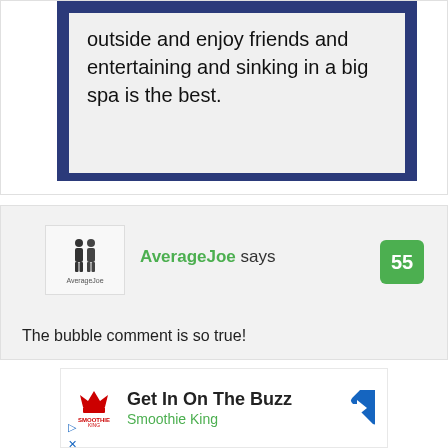outside and enjoy friends and entertaining and sinking in a big spa is the best.
AverageJoe says
55
The bubble comment is so true!
[Figure (illustration): Advertisement for Smoothie King with logo, text 'Get In On The Buzz', 'Smoothie King' subtitle, and a blue diamond arrow icon]
Get In On The Buzz
Smoothie King